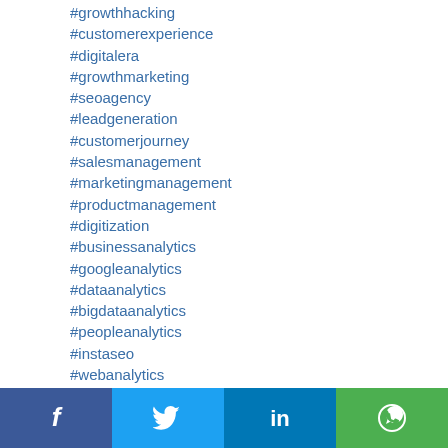#growthhacking
#customerexperience
#digitalera
#growthmarketing
#seoagency
#leadgeneration
#customerjourney
#salesmanagement
#marketingmanagement
#productmanagement
#digitization
#businessanalytics
#googleanalytics
#dataanalytics
#bigdataanalytics
#peopleanalytics
#instaseo
#webanalytics
#predictiveanalytics
#socialmediaanalytics
#marketinganalytics
#facebookanalytics
#googleanalyticscertified
Facebook Twitter LinkedIn WhatsApp